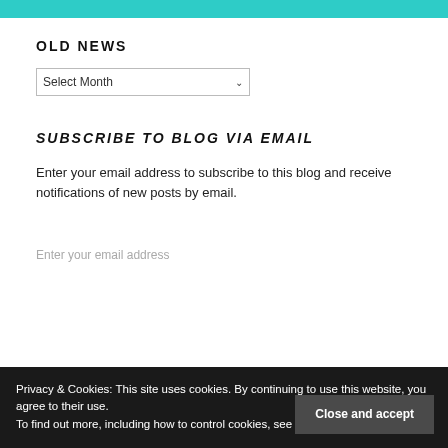[Figure (other): Teal/cyan horizontal bar at the top of the page]
OLD NEWS
[Figure (other): Select Month dropdown box]
SUBSCRIBE TO BLOG VIA EMAIL
Enter your email address to subscribe to this blog and receive notifications of new posts by email.
Enter your email address
Privacy & Cookies: This site uses cookies. By continuing to use this website, you agree to their use.
To find out more, including how to control cookies, see here: Cookie Policy
Close and accept